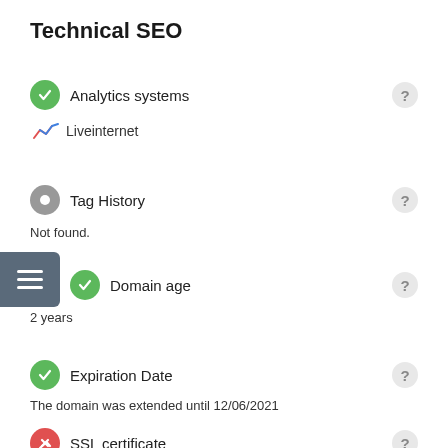Technical SEO
Analytics systems
Liveinternet
Tag History
Not found.
Domain age
2 years
Expiration Date
The domain was extended until 12/06/2021
SSL certificate